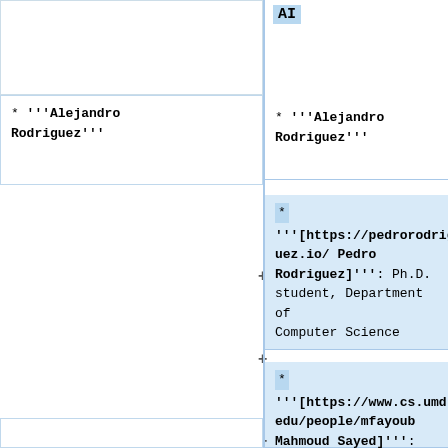AI
* '''Alejandro Rodriguez'''
* '''Alejandro Rodriguez'''
* '''[https://pedrorodriguez.io/ Pedro Rodriguez]''': Ph.D. student, Department of Computer Science
* '''[https://www.cs.umd.edu/people/mfayoub Mahmoud Sayed]''': Microsoft